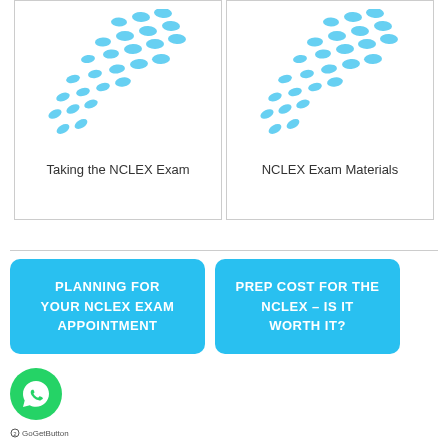[Figure (illustration): Blue dot/leaf pattern decorative image for Taking the NCLEX Exam card]
Taking the NCLEX Exam
[Figure (illustration): Blue dot/leaf pattern decorative image for NCLEX Exam Materials card]
NCLEX Exam Materials
[Figure (other): Blue rounded rectangle button: PLANNING FOR YOUR NCLEX EXAM APPOINTMENT]
[Figure (other): Blue rounded rectangle button: PREP COST FOR THE NCLEX – IS IT WORTH IT?]
[Figure (logo): WhatsApp green circle button with chat icon]
GoGetButton